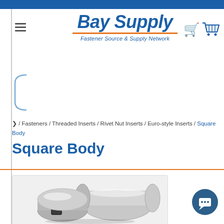[Figure (logo): Bay Supply logo — bold italic blue text 'Bay Supply' with orange underline and tagline 'Fastener Source & Supply Network']
☰
[Figure (illustration): Shopping cart icon in blue]
[Figure (illustration): Blue bracket/sidebar UI element on left side]
/ Fasteners / Threaded Inserts / Rivet Nut Inserts / Euro-style Inserts / Square Body
Square Body
[Figure (photo): Silver metallic square body rivet nut insert product photo on white/gray background]
[Figure (illustration): Chat support bubble icon, dark blue circle with white chat icon]